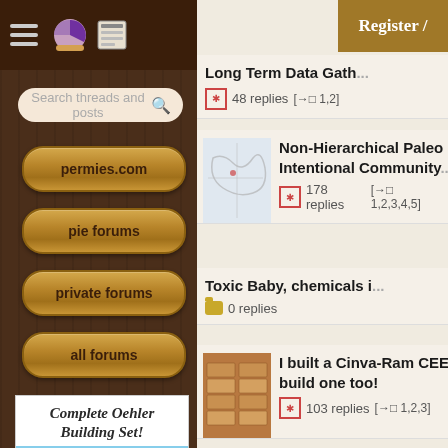[Figure (screenshot): Permies.com forum website screenshot showing left sidebar navigation with wood texture background, search bar, nav buttons (permies.com, pie forums, private forums, all forums), and right panel with forum thread listings]
permies.com
pie forums
private forums
all forums
Register /
Long Term Data Gath... 48 replies [→□ 1,2]
Non-Hierarchical Paleo Intentional Community... 178 replies [→□ 1,2,3,4,5]
Toxic Baby, chemicals i... 0 replies
I built a Cinva-Ram CEE... build one too! 103 replies [→□ 1,2,3]
[Figure (illustration): Complete Oehler Building Set advertisement with text and photo of wooden building]